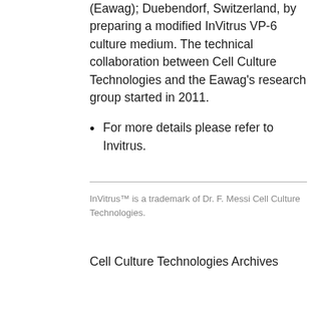(Eawag); Duebendorf, Switzerland, by preparing a modified InVitrus VP-6 culture medium. The technical collaboration between Cell Culture Technologies and the Eawag's research group started in 2011.
For more details please refer to Invitrus.
InVitrus™ is a trademark of Dr. F. Messi Cell Culture Technologies.
Cell Culture Technologies Archives